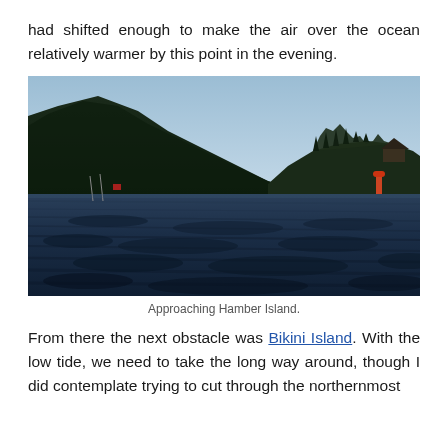had shifted enough to make the air over the ocean relatively warmer by this point in the evening.
[Figure (photo): Water-level photograph looking toward Hamber Island, showing rippling dark blue water in the foreground, a mountainous forested shoreline on the left, a small wooded island with buildings in the center-right, and a navigation buoy visible on the right. Clear blue sky in the background.]
Approaching Hamber Island.
From there the next obstacle was Bikini Island. With the low tide, we need to take the long way around, though I did contemplate trying to cut through the northernmost